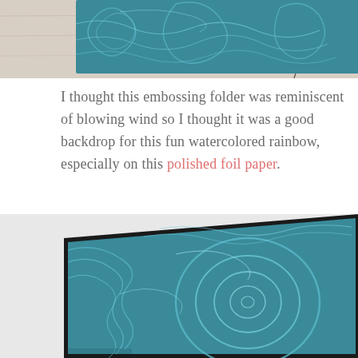[Figure (photo): Top portion of a teal/blue embossed foil paper with swirling wind pattern, placed on a light wooden surface. Only the bottom portion of the card is visible.]
I thought this embossing folder was reminiscent of blowing wind so I thought it was a good backdrop for this fun watercolored rainbow, especially on this polished foil paper.
[Figure (photo): Close-up photograph of a teal metallic embossed foil paper with swirling/spiral wind-like patterns, placed at an angle on a light grey surface with a dark border visible.]